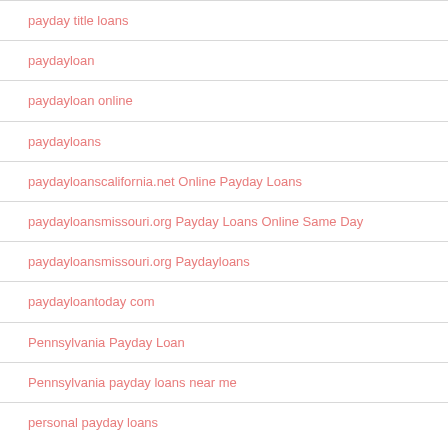payday title loans
paydayloan
paydayloan online
paydayloans
paydayloanscalifornia.net Online Payday Loans
paydayloansmissouri.org Payday Loans Online Same Day
paydayloansmissouri.org Paydayloans
paydayloantoday com
Pennsylvania Payday Loan
Pennsylvania payday loans near me
personal payday loans